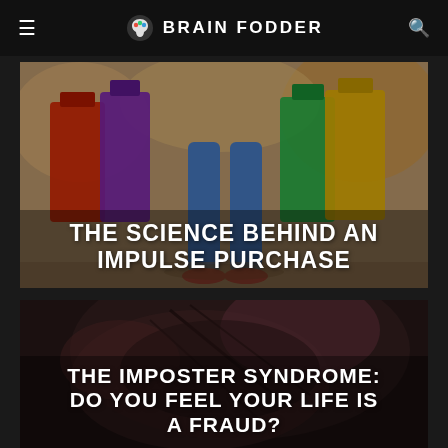BRAIN FODDER
[Figure (photo): Person's legs in jeans and red sneakers carrying colorful shopping bags]
THE SCIENCE BEHIND AN IMPULSE PURCHASE
[Figure (photo): Close-up dark moody image of fabric/hat with pink and grey tones]
THE IMPOSTER SYNDROME: DO YOU FEEL YOUR LIFE IS A FRAUD?